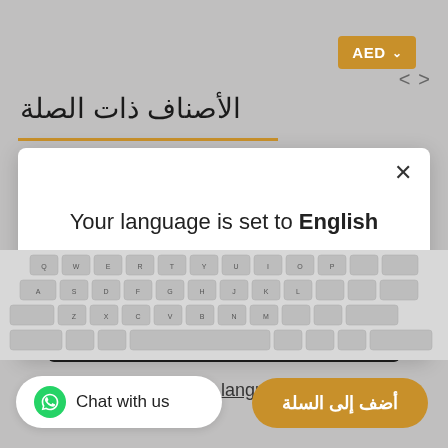[Figure (screenshot): AED currency selector button in amber/gold color in top right corner]
< >
الأصناف ذات الصلة
[Figure (screenshot): Language selection modal dialog with white background. Contains close X button, text 'Your language is set to English', a dark button 'Shop in English', and an underlined link 'Change language']
Your language is set to English
Shop in English
Change language
[Figure (photo): Laptop keyboard visible in background behind modal]
Chat with us
أضف إلى السلة